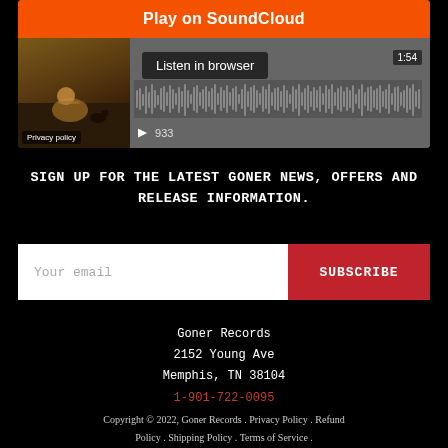[Figure (screenshot): SoundCloud embedded player widget with orange 'Play on SoundCloud' button, artwork thumbnail of a figure seated outdoors, waveform display, 'Listen in browser' button, time 1:54, play count 933, and Privacy policy label.]
SIGN UP FOR THE LATEST GONER NEWS, OFFERS AND RELEASE INFORMATION.
Your email  SUBSCRIBE
Goner Records
2152 Young Ave
Memphis, TN 38104
1-901-722-0095
Copyright © 2022, Goner Records . Privacy Policy . Refund Policy . Shipping Policy . Terms of Service .